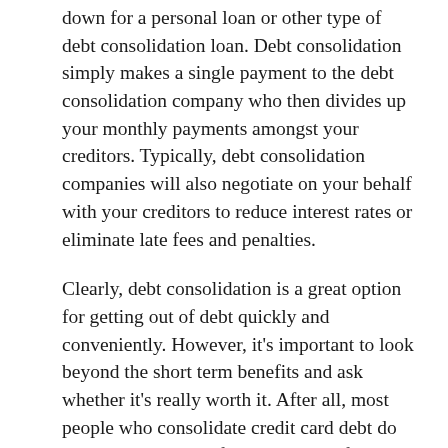down for a personal loan or other type of debt consolidation loan. Debt consolidation simply makes a single payment to the debt consolidation company who then divides up your monthly payments amongst your creditors. Typically, debt consolidation companies will also negotiate on your behalf with your creditors to reduce interest rates or eliminate late fees and penalties.
Clearly, debt consolidation is a great option for getting out of debt quickly and conveniently. However, it's important to look beyond the short term benefits and ask whether it's really worth it. After all, most people who consolidate credit card debt do so because they are facing the end of their financial year. They are trying to make ends meet and will likely have cutback expenses, such as reducing their credit card use or eliminating unnecessary purchases.